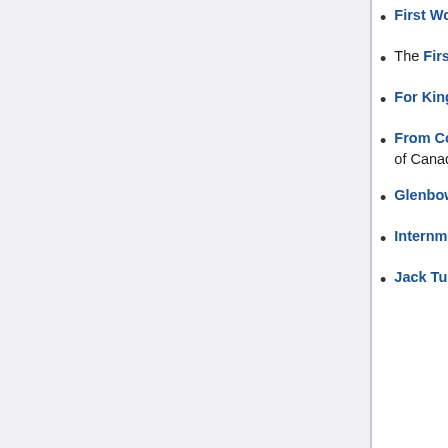First World War from the Canadian Military History Gateway - literally hundreds of sites.
The First World War: Canada Remembers - video and sound files from CBC Archives.
For King and Empire: Canada's Soldiers in the Great War
From Colony to Country: A Reader's Guide to Canadian Military History (National Library of Canada)
Glenbow Museum (Calgary, Alberta, Canada), featuring images from its rich collection.
Internment of Ukrainians in Canada 1914-1920
Jack Turner's War - photos, articles, interviews.